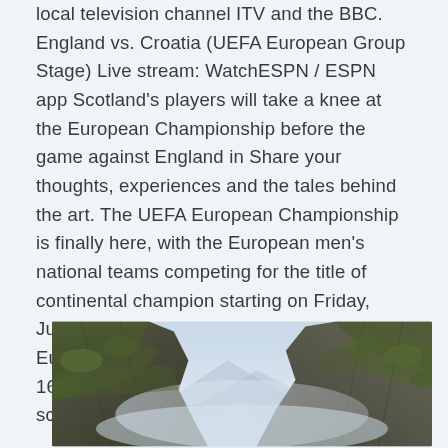local television channel ITV and the BBC. England vs. Croatia (UEFA European Group Stage) Live stream: WatchESPN / ESPN app Scotland's players will take a knee at the European Championship before the game against England in Share your thoughts, experiences and the tales behind the art. The UEFA European Championship is finally here, with the European men's national teams competing for the title of continental champion starting on Friday, June 11 (6/11/2021). Each of the 24 UEFA Euro or Euro 2021 Live Streaming is the 16th UEFA European Championship scheduled to begin in the summer of 2021.
[Figure (photo): A rocky mountain landscape with moss-covered cliffs and mist or clouds in the background.]